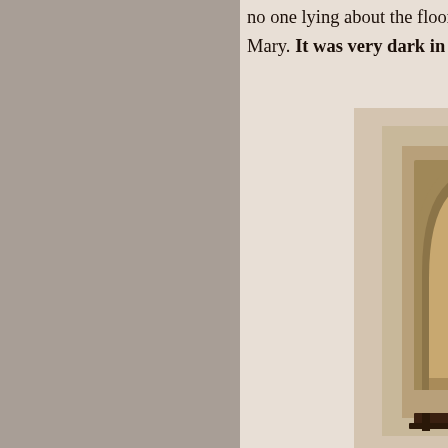no one lying about the floor. But Mary. It was very dark in the ch
[Figure (photo): Interior architectural photo showing an arched doorway or niche with warm golden/tan colored walls, and a dark wooden shelf or ledge at the bottom. The room has smooth plaster walls with muted beige and tan tones.]